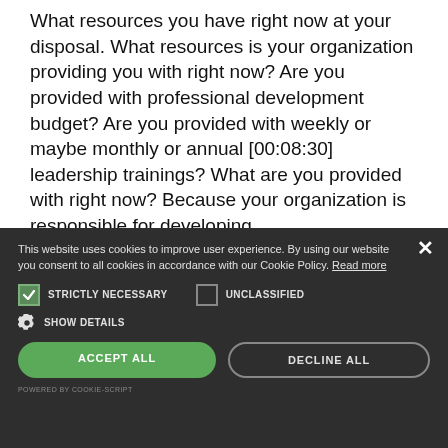What resources you have right now at your disposal. What resources is your organization providing you with right now? Are you provided with professional development budget? Are you provided with weekly or maybe monthly or annual [00:08:30] leadership trainings? What are you provided with right now? Because your organization is responsible for developing
This website uses cookies to improve user experience. By using our website you consent to all cookies in accordance with our Cookie Policy. Read more
STRICTLY NECESSARY   UNCLASSIFIED
SHOW DETAILS
ACCEPT ALL   DECLINE ALL
POWERED BY COOKIE-SCRIPT